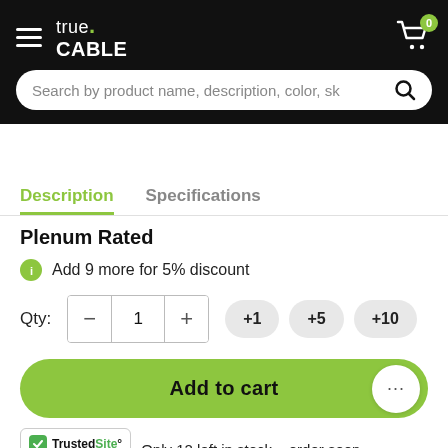true.CABLE — Cart: 0
Search by product name, description, color, sk
Description | Specifications
Plenum Rated
Add 9 more for 5% discount
Qty: 1  +1  +5  +10
Add to cart
Only 12 left in stock – order soon.